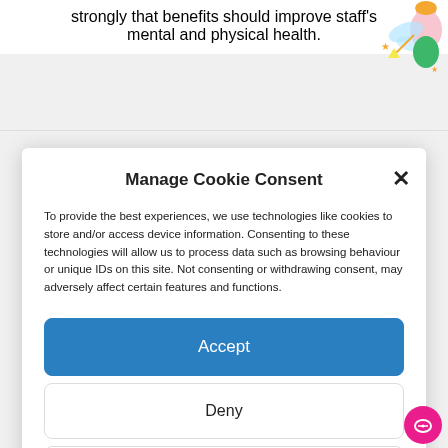strongly that benefits should improve staff's mental and physical health.
Manage Cookie Consent
To provide the best experiences, we use technologies like cookies to store and/or access device information. Consenting to these technologies will allow us to process data such as browsing behaviour or unique IDs on this site. Not consenting or withdrawing consent, may adversely affect certain features and functions.
Accept
Deny
View preferences
Cookies   PRIVACY